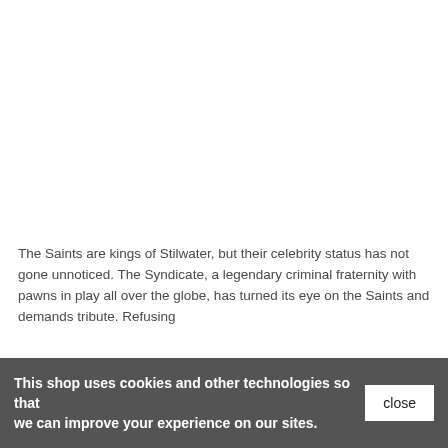The Saints are kings of Stilwater, but their celebrity status has not gone unnoticed. The Syndicate, a legendary criminal fraternity with pawns in play all over the globe, has turned its eye on the Saints and demands tribute. Refusing to be managed by the Syndicate, the Saints are forced to fight for more than just street cred or city control, they must take their fight across the globe and into orbit, to take control of...
This shop uses cookies and other technologies so that we can improve your experience on our sites.